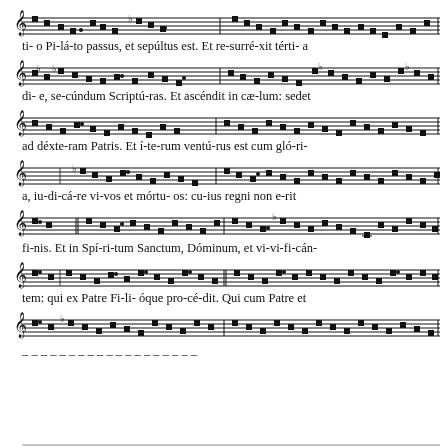[Figure (illustration): Gregorian chant notation (square notation on a four-line staff) with Latin liturgical text. Text lines: 'ti-o Pi-lá-to passus, et sepúltus est. Et re-surré-xit térti-a'; 'di-e, se-cúndum Scriptú-ras. Et ascéndit in cæ-lum: sedet'; 'ad déxte-ram Patris. Et í-te-rum ventú-rus est cum gló-ri-'; 'a, iu-di-cá-re vi-vos et mórtu-os: cu-ius regni non e-rit'; 'fi-nis. Et in Spí-ri-tum Sanctum, Dóminum, et vi-vi-fi-cán-'; 'tem: qui ex Patre Fi-li-óque pro-cé-dit. Qui cum Patre et'; partial last system visible.]